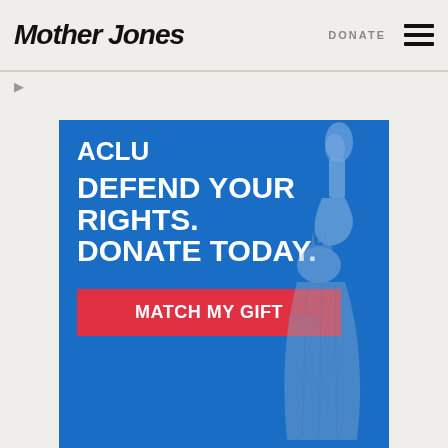Mother Jones | DONATE
[Figure (illustration): ACLU advertisement on Mother Jones website. Blue background with white ACLU logo, text 'DEFEND YOUR RIGHTS. DONATE TODAY.' and a red button labeled 'MATCH MY GIFT'. Statue of Liberty torch illustration on the right side.]
Advertise with Mother Jones